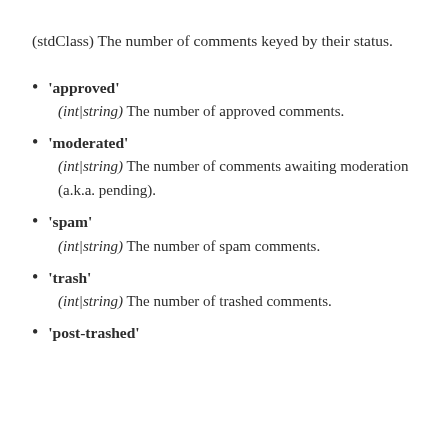(stdClass) The number of comments keyed by their status.
'approved'
(int|string) The number of approved comments.
'moderated'
(int|string) The number of comments awaiting moderation (a.k.a. pending).
'spam'
(int|string) The number of spam comments.
'trash'
(int|string) The number of trashed comments.
'post-trashed'